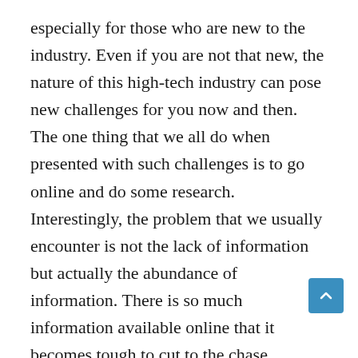especially for those who are new to the industry. Even if you are not that new, the nature of this high-tech industry can pose new challenges for you now and then. The one thing that we all do when presented with such challenges is to go online and do some research. Interestingly, the problem that we usually encounter is not the lack of information but actually the abundance of information. There is so much information available online that it becomes tough to cut to the chase, especially if you don't have much time to do the research. Why this book? This book intends to save time for those looking for professional information quickly. It means that you don't have to read hundreds of pages to develop a basic understanding of mobile networks. It is written by someone who already has spent a lot of time reading hundreds (or thousands) of pages of academic and professional documentation whilst working full…